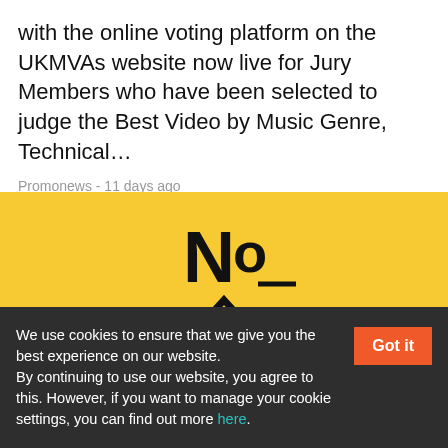with the online voting platform on the UKMVAs website now live for Jury Members who have been selected to judge the Best Video by Music Genre, Technical...
Promonews - 11 days ago
[Figure (logo): Yellow background with a large black 'Nº' symbol above an hourglass-like geometric shape made of two diamond outlines]
We use cookies to ensure that we give you the best experience on our website. By continuing to use our website, you agree to this. However, if you want to manage your cookie settings, you can find out more here.